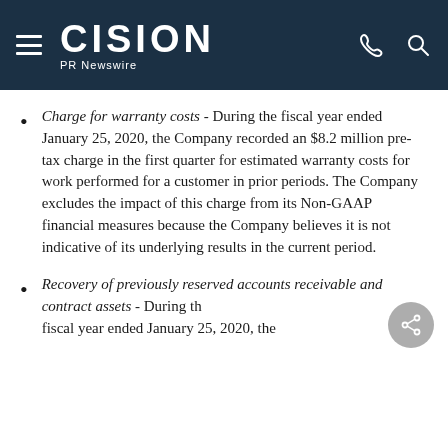CISION PR Newswire
Charge for warranty costs - During the fiscal year ended January 25, 2020, the Company recorded an $8.2 million pre-tax charge in the first quarter for estimated warranty costs for work performed for a customer in prior periods. The Company excludes the impact of this charge from its Non-GAAP financial measures because the Company believes it is not indicative of its underlying results in the current period.
Recovery of previously reserved accounts receivable and contract assets - During the fiscal year ended January 25, 2020, the